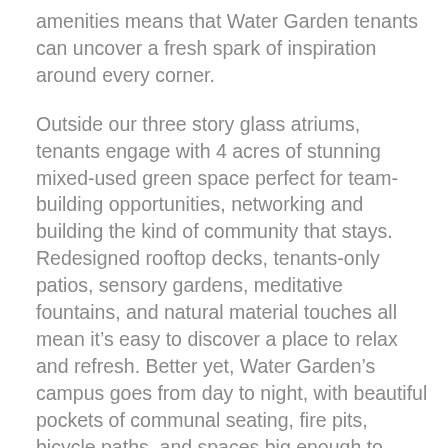amenities means that Water Garden tenants can uncover a fresh spark of inspiration around every corner.
Outside our three story glass atriums, tenants engage with 4 acres of stunning mixed-used green space perfect for team-building opportunities, networking and building the kind of community that stays. Redesigned rooftop decks, tenants-only patios, sensory gardens, meditative fountains, and natural material touches all mean it’s easy to discover a place to relax and refresh. Better yet, Water Garden’s campus goes from day to night, with beautiful pockets of communal seating, fire pits, bicycle paths, and spaces big enough to embrace morning yoga or team